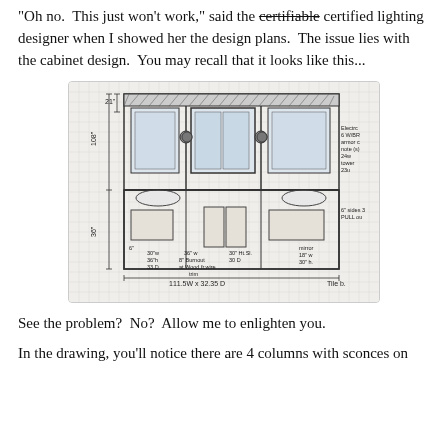"Oh no.  This just won't work," said the certifiable certified lighting designer when I showed her the design plans.  The issue lies with the cabinet design.  You may recall that it looks like this...
[Figure (engineering-diagram): Hand-drawn architectural/cabinet elevation sketch showing 4 columns with wall sconces, upper cabinets, mirrors, sinks, and lower cabinets. Annotations include dimensions such as 21", 108", 36", 111.5W x 32.35D, and notes about cabinet specifications like 30"w, 36"h, 33D and mirror/wood frame details.]
See the problem?  No?  Allow me to enlighten you.
In the drawing, you'll notice there are 4 columns with sconces on